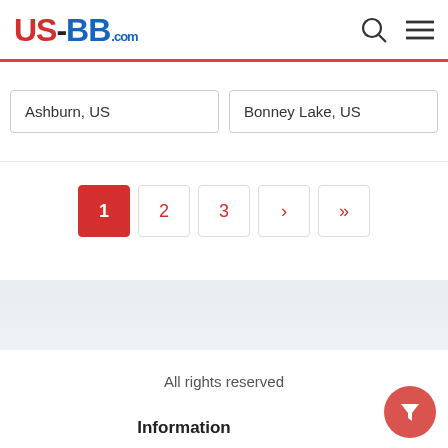US-BB.com
Ashburn, US
Bonney Lake, US
1
2
3
>
>>
All rights reserved
Information